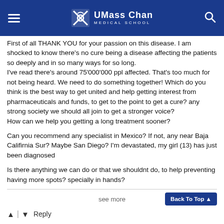UMass Chan Medical School
First of all THANK YOU for your passion on this disease. I am shocked to know there's no cure being a disease affecting the patients so deeply and in so many ways for so long.
I've read there's around 75'000'000 ppl affected. That's too much for not being heard. We need to do something together! Which do you think is the best way to get united and help getting interest from pharmaceuticals and funds, to get to the point to get a cure? any strong society we should all join to get a stronger voice?
How can we help you getting a long treatment sooner?
Can you recommend any specialist in Mexico? If not, any near Baja Califirnia Sur? Maybe San Diego? I'm devastated, my girl (13) has just been diagnosed
Is there anything we can do or that we shouldnt do, to help preventing having more spots? specially in hands?
see more
Back To Top ▲
Reply